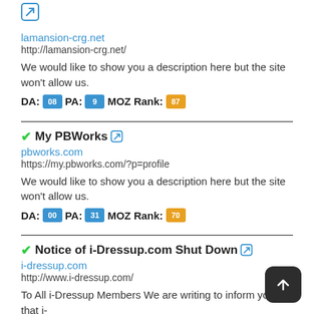[Figure (other): External link icon (blue arrow box) for first entry at top]
lamansion-crg.net
http://lamansion-crg.net/
We would like to show you a description here but the site won't allow us.
DA: 08  PA: 9  MOZ Rank: 87
✓My PBWorks 🔗
pbworks.com
https://my.pbworks.com/?p=profile
We would like to show you a description here but the site won't allow us.
DA: 00  PA: 31  MOZ Rank: 70
✓Notice of i-Dressup.com Shut Down 🔗
i-dressup.com
http://www.i-dressup.com/
To All i-Dressup Members We are writing to inform you that i-